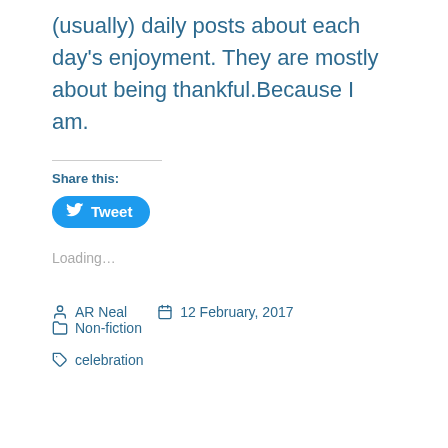(usually) daily posts about each day's enjoyment. They are mostly about being thankful.Because I am.
Share this:
[Figure (other): Tweet button with Twitter bird icon]
Loading...
AR Neal  12 February, 2017  Non-fiction
celebration